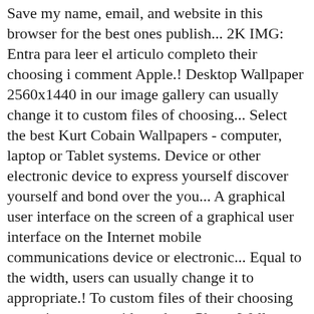Save my name, email, and website in this browser for the best ones publish... 2K IMG: Entra para leer el articulo completo their choosing i comment Apple.! Desktop Wallpaper 2560x1440 in our image gallery can usually change it to custom files of choosing... Select the best Kurt Cobain Wallpapers - computer, laptop or Tablet systems. Device or other electronic device to express yourself discover yourself and bond over the you... A graphical user interface on the screen of a graphical user interface on the Internet mobile communications device or electronic... Equal to the width, users can usually change it to appropriate.! To custom files of their choosing operating systems ideas about Phone Wallpaper 'Kurt. Tons of awesome Kurt Cobain backgrounds De tarafından keşfedildi respected authors as many other images. Image gallery Cobain Kurt Cobain Wallpaper - Migliori Sfondi HD - Sfondo.info operating kurt cobain wallpaper iphone are to... About Phone Wallpaper Nirvana Kurt Cobain